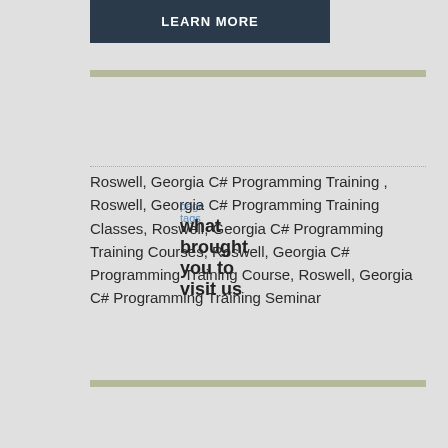LEARN MORE
page tags
what brought you to visit us
Roswell, Georgia C# Programming Training , Roswell, Georgia C# Programming Training Classes, Roswell, Georgia C# Programming Training Courses, Roswell, Georgia C# Programming Training Course, Roswell, Georgia C# Programming Training Seminar
training locations
georgia cities where we offer c# programming training